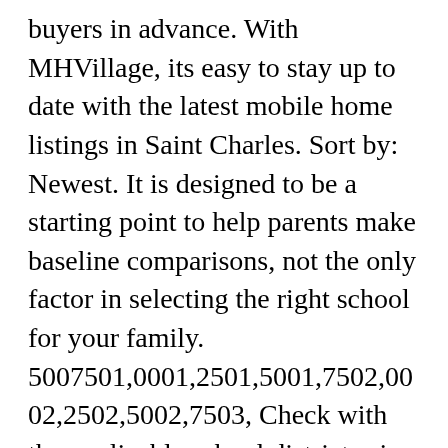buyers in advance. With MHVillage, its easy to stay up to date with the latest mobile home listings in Saint Charles. Sort by: Newest. It is designed to be a starting point to help parents make baseline comparisons, not the only factor in selecting the right school for your family. 5007501,0001,2501,5001,7502,0002,2502,5002,7503, Check with the applicable school district prior to making a decision based on these boundaries. Check out Rentals.com's cheap rental houses in Saint Charles. To help narrow your search, simply enter the school name within the Rentals.com search bar to find rental homes in ... Use our quick filters,